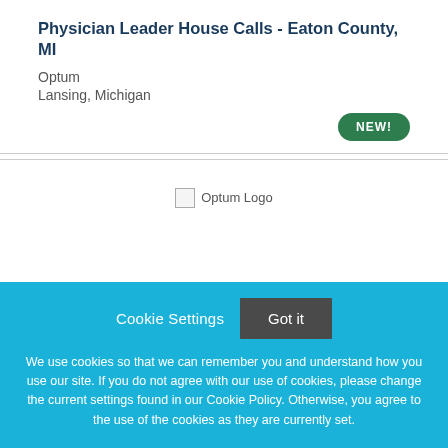Physician Leader House Calls - Eaton County, MI
Optum
Lansing, Michigan
[Figure (logo): Optum Logo placeholder image]
Cookie Settings   Got it
We use cookies so that we can remember you and understand how you use our site. If you do not agree with our use of cookies, please change the current settings found in our Cookie Policy. Otherwise, you agree to the use of the cookies as they are currently set.